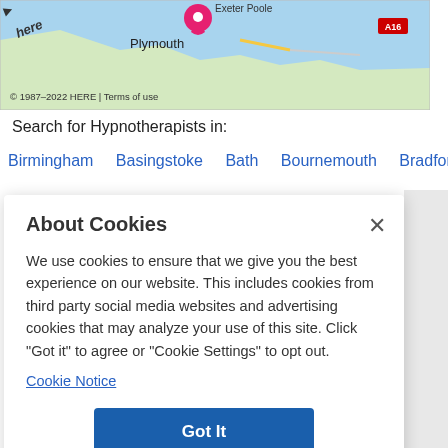[Figure (map): Map showing Plymouth area with HERE maps branding, a pink location pin, and road markings. Copyright notice: © 1987–2022 HERE | Terms of use]
Search for Hypnotherapists in:
Birmingham   Basingstoke   Bath   Bournemouth   Bradford
About Cookies
We use cookies to ensure that we give you the best experience on our website. This includes cookies from third party social media websites and advertising cookies that may analyze your use of this site. Click "Got it" to agree or "Cookie Settings" to opt out.
Cookie Notice
Got It
Cookies Settings